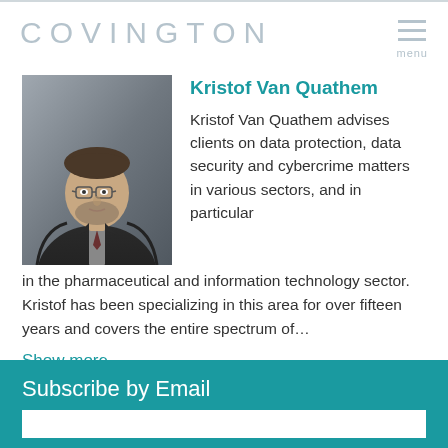COVINGTON
[Figure (photo): Professional headshot of Kristof Van Quathem, a man with glasses and a beard wearing a dark suit]
Kristof Van Quathem
Kristof Van Quathem advises clients on data protection, data security and cybercrime matters in various sectors, and in particular in the pharmaceutical and information technology sector. Kristof has been specializing in this area for over fifteen years and covers the entire spectrum of…
Show more ∨
[Figure (infographic): Globe icon (teal) and email/envelope icon (teal)]
Subscribe by Email